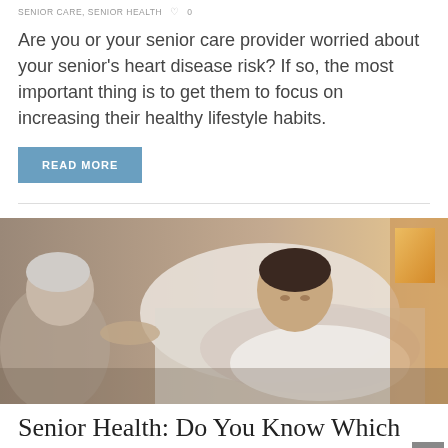SENIOR CARE, SENIOR HEALTH  ♡ 0
Are you or your senior care provider worried about your senior's heart disease risk? If so, the most important thing is to get them to focus on increasing their healthy lifestyle habits.
READ MORE
[Figure (photo): An elderly person lying in bed with another person beside them, warm indoor lighting with a lamp visible on the right side]
Senior Health: Do You Know Which